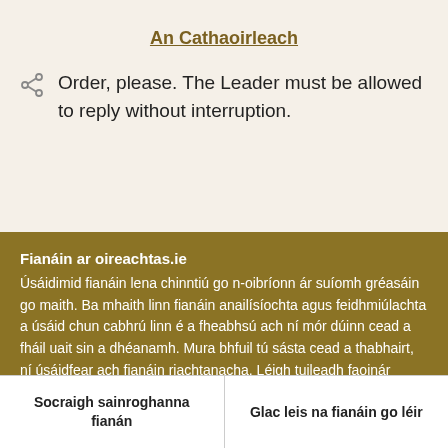An Cathaoirleach
Order, please. The Leader must be allowed to reply without interruption.
Fianáin ar oireachtas.ie
Úsáidimid fianáin lena chinntiú go n-oibríonn ár suíomh gréasáin go maith. Ba mhaith linn fianáin anailísíochta agus feidhmiúlachta a úsáid chun cabhrú linn é a fheabhsú ach ní mór dúinn cead a fháil uait sin a dhéanamh. Mura bhfuil tú sásta cead a thabhairt, ní úsáidfear ach fianáin riachtanacha. Léigh tuileadh faoinár bhfianáin
Socraigh sainroghanna fianán
Glac leis na fianáin go léir